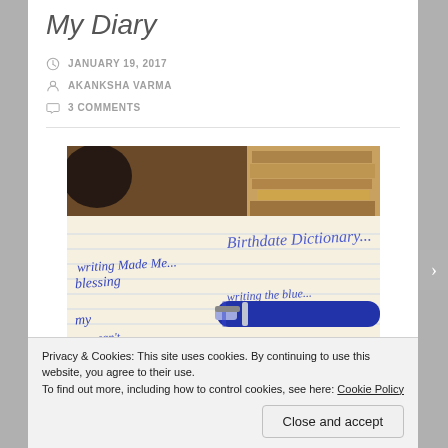My Diary
JANUARY 19, 2017
AKANKSHA VARMA
3 COMMENTS
[Figure (photo): Close-up photo of a handwritten diary page with blue ink cursive writing and a blue ballpoint pen resting on the open notebook. Background shows stacked books or papers.]
Privacy & Cookies: This site uses cookies. By continuing to use this website, you agree to their use.
To find out more, including how to control cookies, see here: Cookie Policy